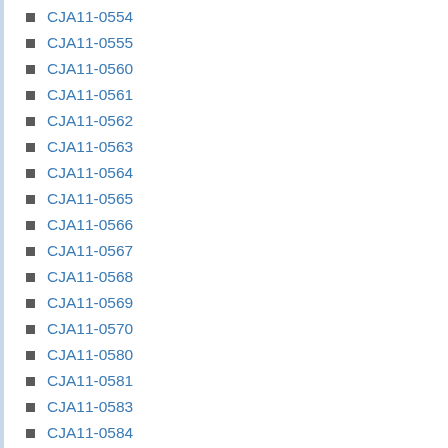CJA11-0554
CJA11-0555
CJA11-0560
CJA11-0561
CJA11-0562
CJA11-0563
CJA11-0564
CJA11-0565
CJA11-0566
CJA11-0567
CJA11-0568
CJA11-0569
CJA11-0570
CJA11-0580
CJA11-0581
CJA11-0583
CJA11-0584
CJA11-0585
CJA11-0586
CJA11-0587
CJA11-0588
CJA11-0590
CJA11-0591
CJA11-0852
CJA110-0503
CJAAppedx I
CJAAppxA